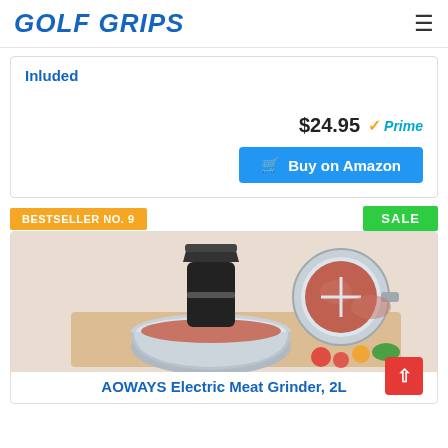GOLF GRIPS
Inluded
$24.95 Prime
Buy on Amazon
BESTSELLER NO. 9
SALE
[Figure (photo): AOWAYS Electric Meat Grinder product photo showing stainless steel bowl and ground meat]
AOWAYS Electric Meat Grinder, 2L